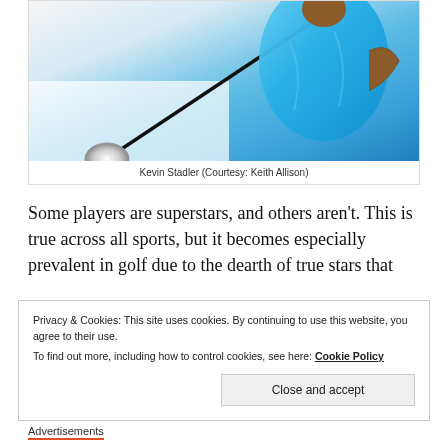[Figure (photo): A golfer in a blue shirt mid-swing with a golf club, white background. Golf club head visible in the lower left.]
Kevin Stadler (Courtesy: Keith Allison)
Some players are superstars, and others aren't. This is true across all sports, but it becomes especially prevalent in golf due to the dearth of true stars that
Privacy & Cookies: This site uses cookies. By continuing to use this website, you agree to their use.
To find out more, including how to control cookies, see here: Cookie Policy
Close and accept
Advertisements